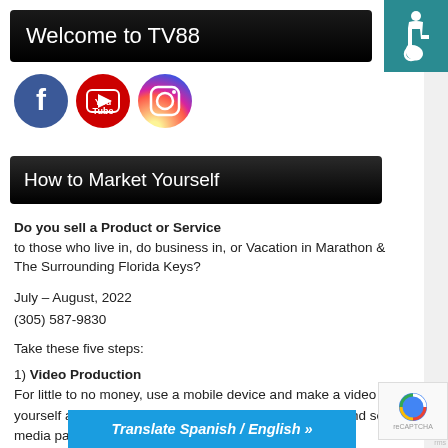Welcome to TV88
[Figure (logo): Accessibility wheelchair icon on teal background]
[Figure (logo): Social media icons: Facebook (blue circle with f), YouTube (red circle with play button), Instagram (gradient circle with camera)]
How to Market Yourself
Do you sell a Product or Service to those who live in, do business in, or Vacation in Marathon & The Surrounding Florida Keys?
July – August, 2022
(305) 587-9830
Take these five steps:
1) Video Production For little to no money, use a mobile device and make a video of yourself and your business, then put it on your website and social media pages.
[Figure (logo): Google reCAPTCHA badge]
Translate Spanish / English »